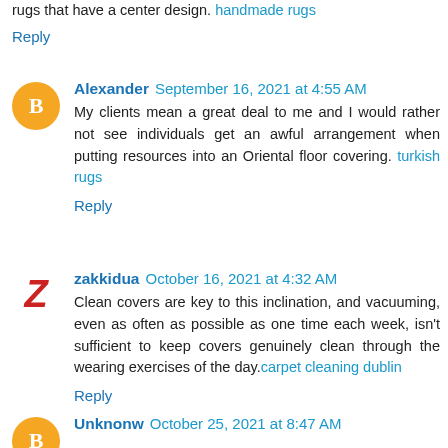rugs that have a center design. handmade rugs
Reply
Alexander  September 16, 2021 at 4:55 AM
My clients mean a great deal to me and I would rather not see individuals get an awful arrangement when putting resources into an Oriental floor covering. turkish rugs
Reply
zakkidua  October 16, 2021 at 4:32 AM
Clean covers are key to this inclination, and vacuuming, even as often as possible as one time each week, isn't sufficient to keep covers genuinely clean through the wearing exercises of the day. carpet cleaning dublin
Reply
Unknonw  October 25, 2021 at 8:47 AM